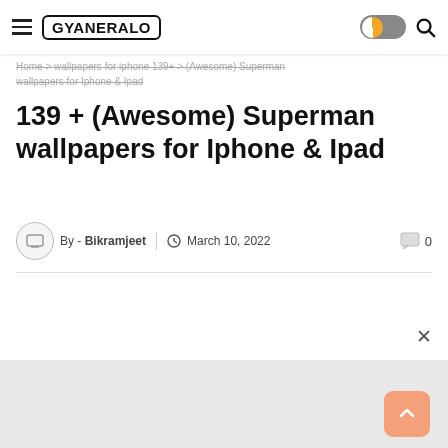GYANERALO
Home > wallpapers for iphone 139+ (Awesome) Superman wallpapers for Iphone & Ipad
139 + (Awesome) Superman wallpapers for Iphone & Ipad
By - Bikramjeet | March 10, 2022   0